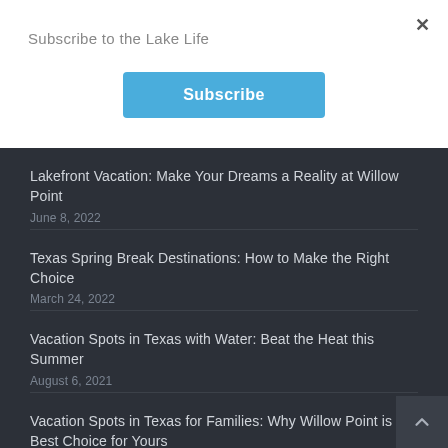Subscribe to the Lake Life
Subscribe
Lakefront Vacation: Make Your Dreams a Reality at Willow Point
June 8, 2022
Texas Spring Break Destinations: How to Make the Right Choice
March 24, 2022
Vacation Spots in Texas with Water: Beat the Heat this Summer
August 6, 2021
Vacation Spots in Texas for Families: Why Willow Point is the Best Choice for Yours
June 13, 2021